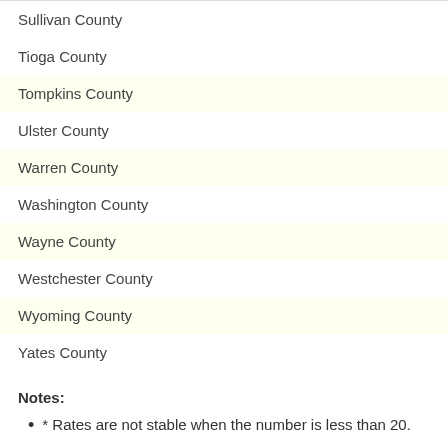Sullivan County
Tioga County
Tompkins County
Ulster County
Warren County
Washington County
Wayne County
Westchester County
Wyoming County
Yates County
Notes:
* Rates are not stable when the number is less than 20.
PRIVACY P
©2003-2022 by KWIC. All rights reserved. Site created by CCF and Cog...
Permission to copy, reprint, or otherwise distribut...
When citing data from the website, please use: Council on Chil...
Agencies   App Directory